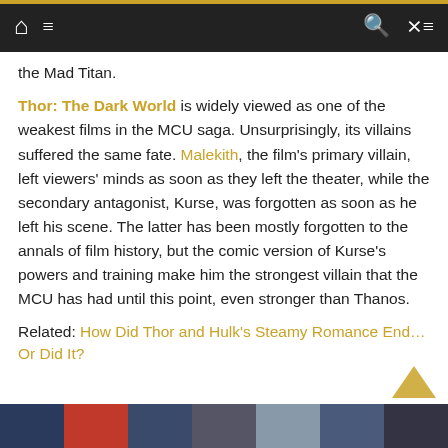Navigation bar with home, menu, search, and shuffle icons
the Mad Titan.
Thor: The Dark World is widely viewed as one of the weakest films in the MCU saga. Unsurprisingly, its villains suffered the same fate. Malekith, the film's primary villain, left viewers' minds as soon as they left the theater, while the secondary antagonist, Kurse, was forgotten as soon as he left his scene. The latter has been mostly forgotten to the annals of film history, but the comic version of Kurse's powers and training make him the strongest villain that the MCU has had until this point, even stronger than Thanos.
Related: How Did Thor and Hulk's Steamy Romance End… Or Did It?
[Figure (illustration): Partial comic book/movie image strip at bottom of page]